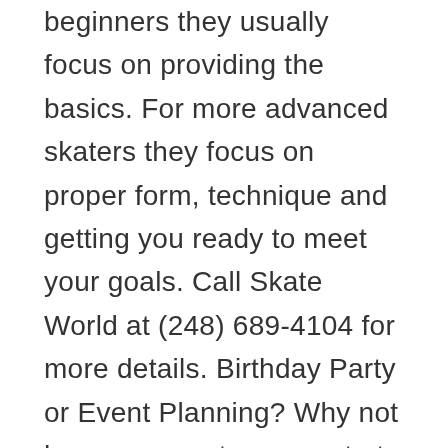beginners they usually focus on providing the basics. For more advanced skaters they focus on proper form, technique and getting you ready to meet your goals. Call Skate World at (248) 689-4104 for more details. Birthday Party or Event Planning? Why not have your party or event at Skate World? They can make their rink and other facilities available to you for birthday parties, holiday parties or corporate events. Their prices are great. They would love to have you out. Give them a call if you would like to schedule your event now at (248) 689-4104. Please call at least one week in advance to properly schedule your event. Snack Bar Got the munchies? Skate World provides food and beverages in the